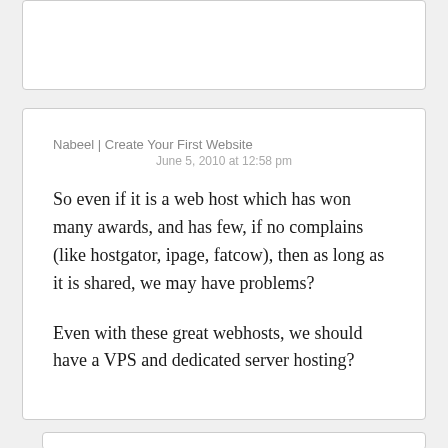Nabeel | Create Your First Website
June 5, 2010 at 12:58 pm
So even if it is a web host which has won many awards, and has few, if no complains (like hostgator, ipage, fatcow), then as long as it is shared, we may have problems?

Even with these great webhosts, we should have a VPS and dedicated server hosting?
Daniel Scocco